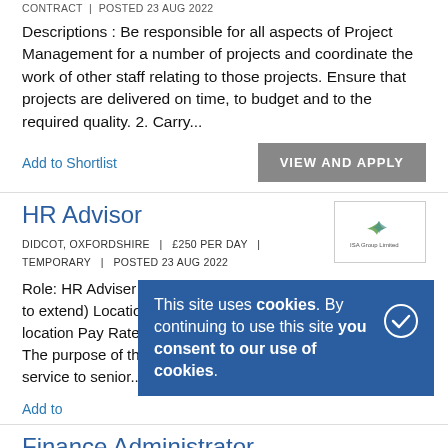CONTRACT  |  POSTED 23 AUG 2022
Descriptions : Be responsible for all aspects of Project Management for a number of projects and coordinate the work of other staff relating to those projects. Ensure that projects are delivered on time, to budget and to the required quality. 2. Carry...
Add to Shortlist
VIEW AND APPLY
HR Advisor
DIDCOT, OXFORDSHIRE  |  £250 PER DAY  |  TEMPORARY  |  POSTED 23 AUG 2022
[Figure (logo): Company logo for ISA Group Limited with a small bird/star graphic]
Role: HR Adviser Contract Length: 4 months (with a review to extend) Location: Hybrid 2 days onsite at the Didcot location Pay Rate to Candidate: 250 a day Job description The purpose of the role is to provide a comprehensive HR service to senior...
Add to
This site uses cookies. By continuing to use this site you consent to our use of cookies.
Finance Administrator